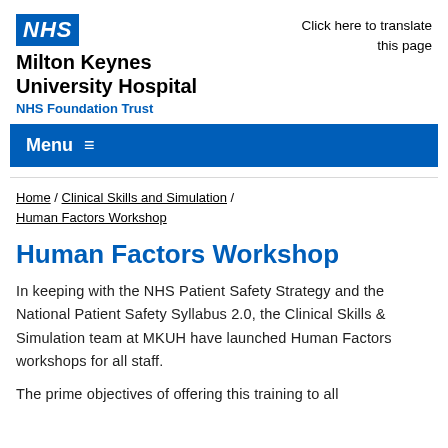NHS Milton Keynes University Hospital NHS Foundation Trust | Click here to translate this page
Human Factors Workshop
Home / Clinical Skills and Simulation / Human Factors Workshop
In keeping with the NHS Patient Safety Strategy and the National Patient Safety Syllabus 2.0, the Clinical Skills & Simulation team at MKUH have launched Human Factors workshops for all staff.
The prime objectives of offering this training to all